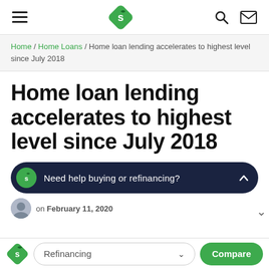Navigation bar with hamburger menu, Savings.com.au logo, search and email icons
Home / Home Loans / Home loan lending accelerates to highest level since July 2018
Home loan lending accelerates to highest level since July 2018
Need help buying or refinancing?
on February 11, 2020
Refinancing — Compare